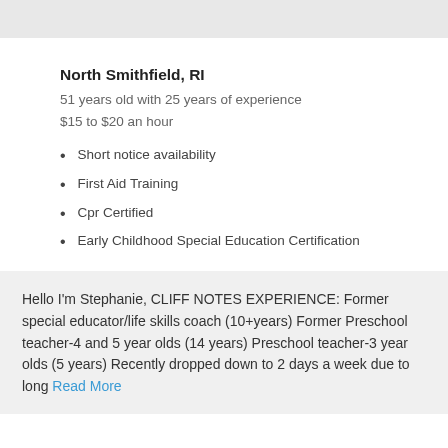North Smithfield, RI
51 years old with 25 years of experience
$15 to $20 an hour
Short notice availability
First Aid Training
Cpr Certified
Early Childhood Special Education Certification
Hello I'm Stephanie, CLIFF NOTES EXPERIENCE: Former special educator/life skills coach (10+years) Former Preschool teacher-4 and 5 year olds (14 years) Preschool teacher-3 year olds (5 years) Recently dropped down to 2 days a week due to long Read More